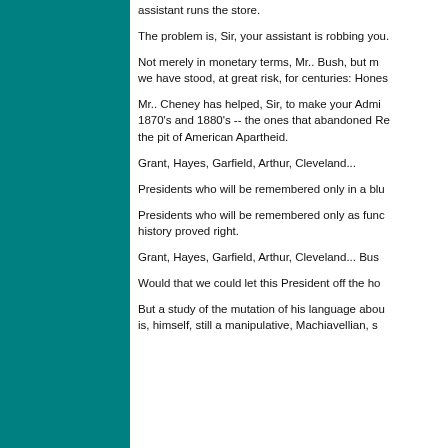assistant runs the store.
The problem is, Sir, your assistant is robbing you.
Not merely in monetary terms, Mr.. Bush, but more importantly, robbing you of the principles we have stood, at great risk, for centuries: Honesty...
Mr.. Cheney has helped, Sir, to make your Administration look like the Republicans of the 1870's and 1880's -- the ones that abandoned Reconstruction and pushed this nation back into the pit of American Apartheid.
Grant, Hayes, Garfield, Arthur, Cleveland...
Presidents who will be remembered only in a blur...
Presidents who will be remembered only as functionaries of evil -- because time and history proved right.
Grant, Hayes, Garfield, Arthur, Cleveland... Bus...
Would that we could let this President off the ho...
But a study of the mutation of his language abou... is, himself, still a manipulative, Machiavellian, s...